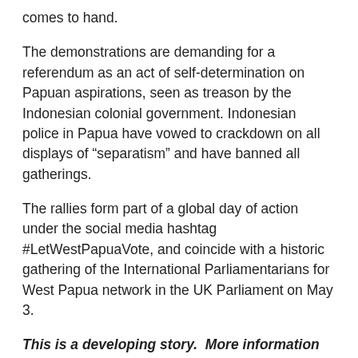comes to hand.
The demonstrations are demanding for a referendum as an act of self-determination on Papuan aspirations, seen as treason by the Indonesian colonial government. Indonesian police in Papua have vowed to crackdown on all displays of “separatism” and have banned all gatherings.
The rallies form part of a global day of action under the social media hashtag #LetWestPapuaVote, and coincide with a historic gathering of the International Parliamentarians for West Papua network in the UK Parliament on May 3.
This is a developing story.  More information as it comes to hand.  Please follow the twitter hashtag #LiveUpdatesPapua for up to the minute coverage.